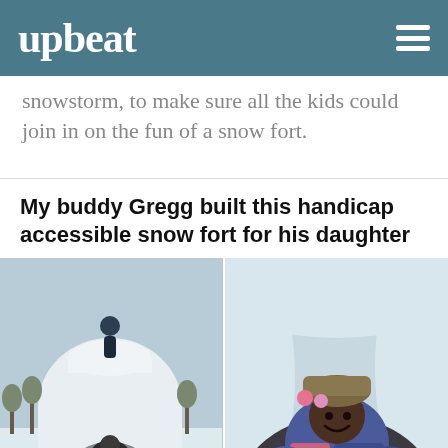upbeat
snowstorm, to make sure all the kids could join in on the fun of a snow fort.
My buddy Gregg built this handicap accessible snow fort for his daughter
[Figure (photo): Two-photo composite showing a large handicap-accessible snow fort. Left photo: a person standing on top of the snow fort structure with a wide entrance at the bottom and a child inside. Right photo: a smiling child in a colorful winter jacket and hat sitting inside the snow fort entrance.]